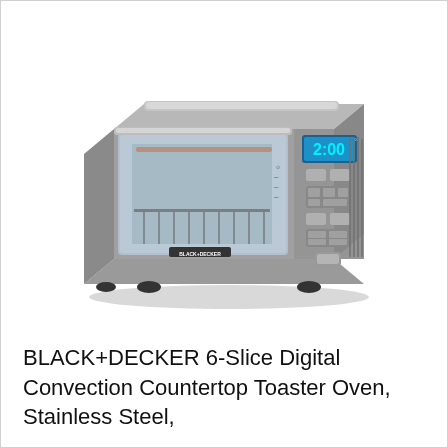[Figure (photo): Product photo of a BLACK+DECKER stainless steel toaster oven with glass door, visible rack inside, and a blue digital display showing 2:00 on the right control panel with multiple buttons.]
BLACK+DECKER 6-Slice Digital Convection Countertop Toaster Oven, Stainless Steel,